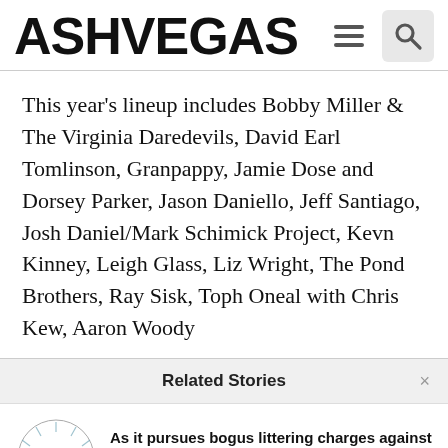ASHVEGAS
This year’s lineup includes Bobby Miller & The Virginia Daredevils, David Earl Tomlinson, Granpappy, Jamie Dose and Dorsey Parker, Jason Daniello, Jeff Santiago, Josh Daniel/Mark Schimick Project, Kevn Kinney, Leigh Glass, Liz Wright, The Pond Brothers, Ray Sisk, Toph Oneal with Chris Kew, Aaron Woody
Related Stories
As it pursues bogus littering charges against citizens, Asheville trashes ideal of compassionate city